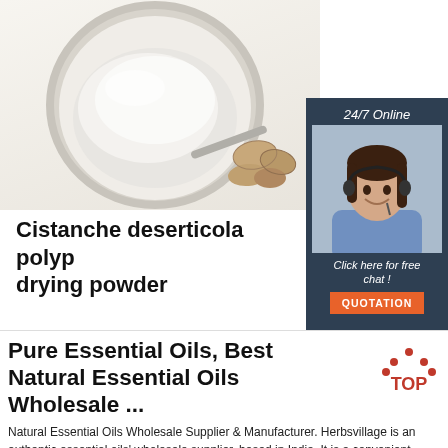[Figure (photo): A round metal bowl/plate with white powder and dried turmeric/herb roots beside it, on a white background.]
Cistanche deserticola polyp... drying powder
[Figure (infographic): 24/7 Online chat widget with a female customer service agent wearing a headset, with 'Click here for free chat!' text and an orange QUOTATION button.]
Pure Essential Oils, Best Natural Essential Oils Wholesale ...
[Figure (logo): TOP logo with orange dots forming a house/arrow shape above the word TOP in red/orange.]
Natural Essential Oils Wholesale Supplier & Manufacturer. Herbsvillage is an authentic essential oils' wholesale supplier, based in India. It is a convenient online shopping portal for